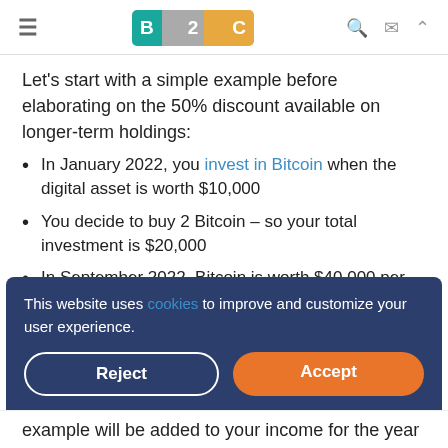B2C [logo with navigation icons]
Let's start with a simple example before elaborating on the 50% discount available on longer-term holdings:
In January 2022, you invest in Bitcoin when the digital asset is worth $10,000
You decide to buy 2 Bitcoin – so your total investment is $20,000
In September 2022, Bitcoin is worth $40,000 per token – so you decide to sell
This website uses cookies to improve and customize your user experience. [Reject] [Accept]
example will be added to your income for the year